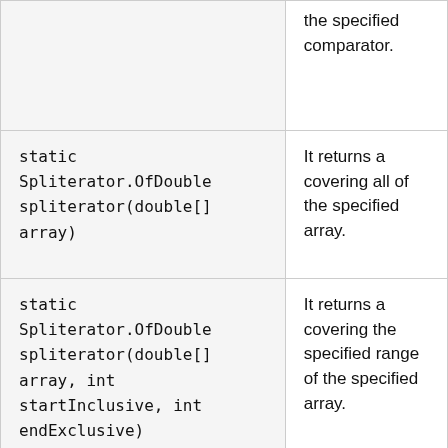| Method | Description |
| --- | --- |
|  | the specified comparator. |
| static Spliterator.OfDouble spliterator(double[] array) | It returns a covering all of the specified array. |
| static Spliterator.OfDouble spliterator(double[] array, int startInclusive, int endExclusive) | It returns a covering the specified range of the specified array. |
| static Spliterator.OfInt spliterator(int[] array ...) | It returns a covering all of the specified ... |